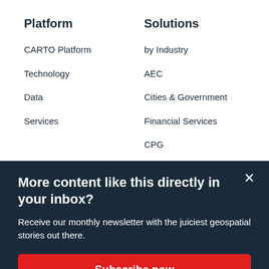Platform
CARTO Platform
Technology
Data
Services
Solutions
by Industry
AEC
Cities & Government
Financial Services
CPG
More content like this directly in your inbox?
Receive our monthly newsletter with the juiciest geospatial stories out there.
Subscribe now